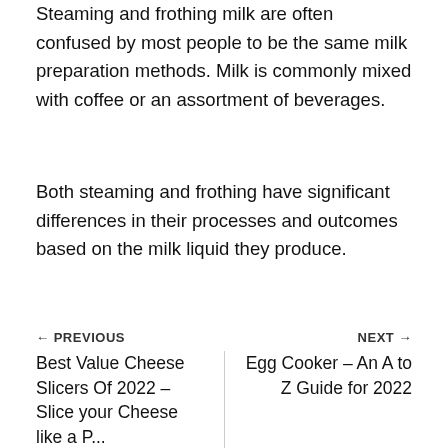Steaming and frothing milk are often confused by most people to be the same milk preparation methods. Milk is commonly mixed with coffee or an assortment of beverages.
Both steaming and frothing have significant differences in their processes and outcomes based on the milk liquid they produce.
← PREVIOUS
Best Value Cheese Slicers Of 2022 – Slice your Cheese like a P...
NEXT →
Egg Cooker – An A to Z Guide for 2022